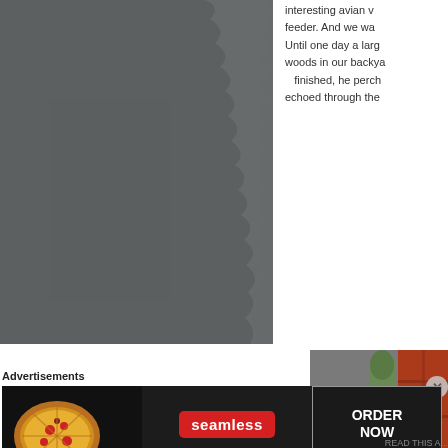[Figure (photo): Large gray photograph of a dark torn-edge surface, occupying the left portion of the page]
interesting avian v feeder. And we wa Until one day a larg woods in our backya finished, he perch echoed through the
[Figure (photo): Close-up photograph of a red brick wall with concrete ledge and dark gap, partially visible on the right side]
Advertisements
[Figure (screenshot): Seamless food delivery advertisement banner with pizza image, seamless logo in red, and ORDER NOW button]